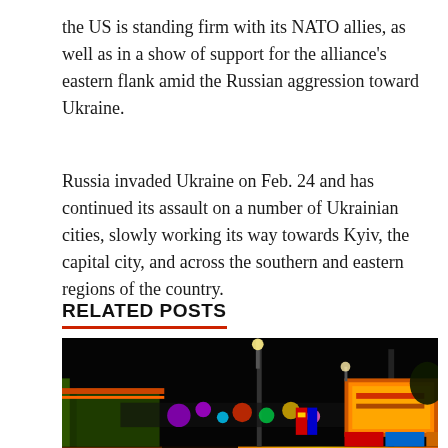the US is standing firm with its NATO allies, as well as in a show of support for the alliance's eastern flank amid the Russian aggression toward Ukraine.
Russia invaded Ukraine on Feb. 24 and has continued its assault on a number of Ukrainian cities, slowly working its way towards Kyiv, the capital city, and across the southern and eastern regions of the country.
RELATED POSTS
[Figure (photo): Night photograph of a fairground or carnival with colorful lights, rides, and food vendor signs visible in the darkness.]